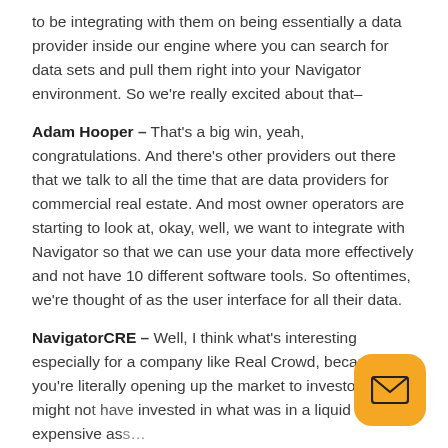to be integrating with them on being essentially a data provider inside our engine where you can search for data sets and pull them right into your Navigator environment. So we're really excited about that–
Adam Hooper – That's a big win, yeah, congratulations. And there's other providers out there that we talk to all the time that are data providers for commercial real estate. And most owner operators are starting to look at, okay, well, we want to integrate with Navigator so that we can use your data more effectively and not have 10 different software tools. So oftentimes, we're thought of as the user interface for all their data.
NavigatorCRE – Well, I think what's interesting especially for a company like Real Crowd, because you're literally opening up the market to investors who might not have invested in what was in a liquid and expensive ass...
[Figure (illustration): Yellow/orange rounded square button with an email envelope icon in the bottom-right corner of the page]